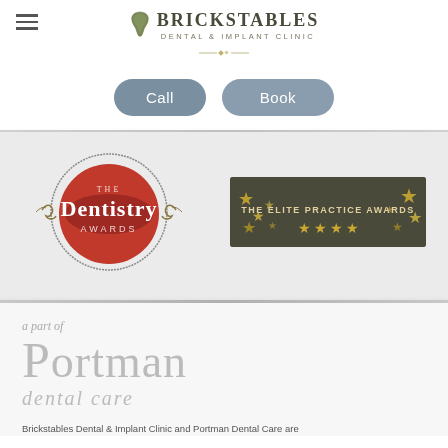[Figure (logo): Brickstables Dental & Implant Clinic logo with tooth shield icon and ornamental divider]
[Figure (other): Call and Book navigation buttons (pill-shaped, grey)]
[Figure (logo): The Dentistry Awards circular logo with ornamental scrollwork]
[Figure (logo): The Elite Practice Awards dark banner with gold stars]
a part of
[Figure (logo): Portman dental care logo in large grey serif font]
Brickstables Dental & Implant Clinic and Portman Dental Care are